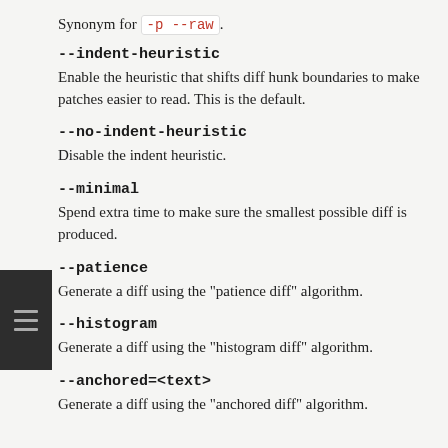Synonym for -p --raw .
--indent-heuristic
Enable the heuristic that shifts diff hunk boundaries to make patches easier to read. This is the default.
--no-indent-heuristic
Disable the indent heuristic.
--minimal
Spend extra time to make sure the smallest possible diff is produced.
--patience
Generate a diff using the "patience diff" algorithm.
--histogram
Generate a diff using the "histogram diff" algorithm.
--anchored=<text>
Generate a diff using the "anchored diff" algorithm.